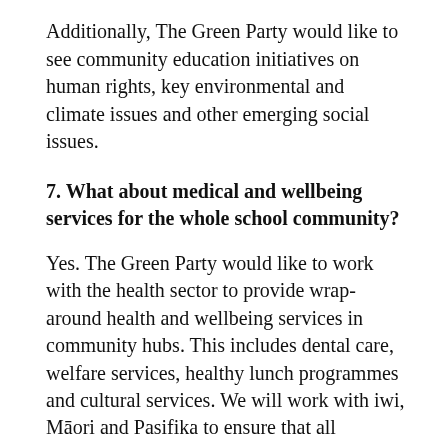Additionally, The Green Party would like to see community education initiatives on human rights, key environmental and climate issues and other emerging social issues.
7. What about medical and wellbeing services for the whole school community?
Yes. The Green Party would like to work with the health sector to provide wrap-around health and wellbeing services in community hubs. This includes dental care, welfare services, healthy lunch programmes and cultural services. We will work with iwi, Māori and Pasifika to ensure that all children are able to access culturally appropriate care and treatment in both primary and mental healthcare services. We also support the safe and supportive inclusion of sexual orientation and